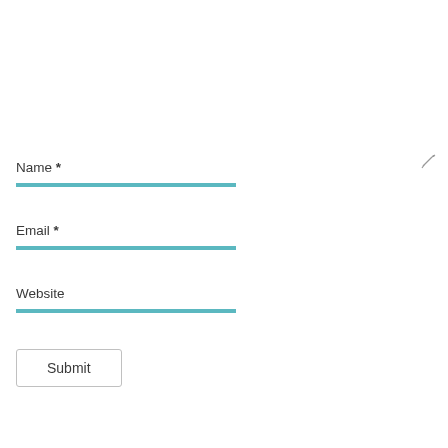[Figure (other): Small pencil/edit icon in upper right area of the form]
Name *
Email *
Website
Submit